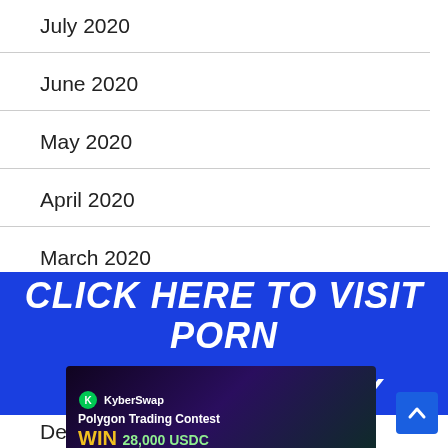July 2020
June 2020
May 2020
April 2020
March 2020
[Figure (other): Advertisement overlay: CLICK HERE TO VISIT PORN HUB (18) + ONLY in large blue bold italic text]
February 2020
January 2020
[Figure (other): KyberSwap banner ad: Polygon Trading Contest, WIN 28,000 USDC Prize Pool!]
December 2019
November 2019